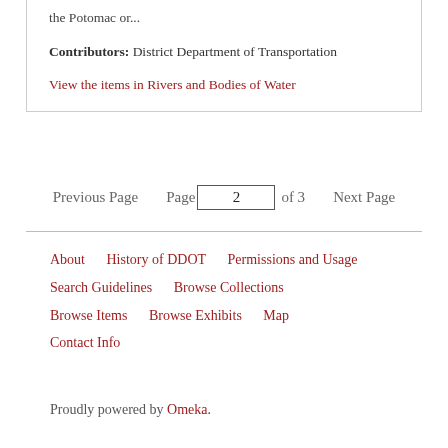the Potomac or...
Contributors: District Department of Transportation
View the items in Rivers and Bodies of Water
Previous Page   Page 2 of 3   Next Page
About
History of DDOT
Permissions and Usage
Search Guidelines
Browse Collections
Browse Items
Browse Exhibits
Map
Contact Info
Proudly powered by Omeka.